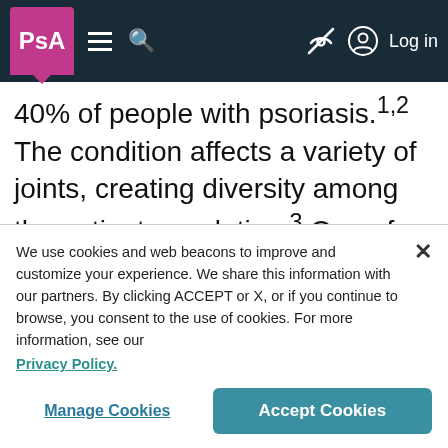PsA [logo nav bar with hamburger, search, hide, and Log in]
40% of people with psoriasis.1,2 The condition affects a variety of joints, creating diversity among the patient population.3 One of the areas commonly affected by PsA are the distal joints, those closest to the nails in the fingers and toes.2
We use cookies and web beacons to improve and customize your experience. We share this information with our partners. By clicking ACCEPT or X, or if you continue to browse, you consent to the use of cookies. For more information, see our Privacy Policy.
Manage Cookies | Accept Cookies